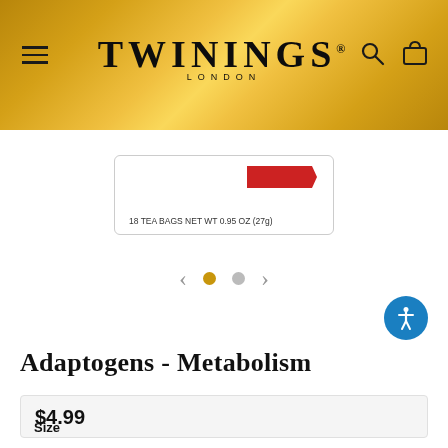Twinings London - navigation header
[Figure (photo): Twinings tea box product image showing '18 TEA BAGS NET WT 0.95 OZ (27g)']
Adaptogens - Metabolism
$4.99
Size
18 ct